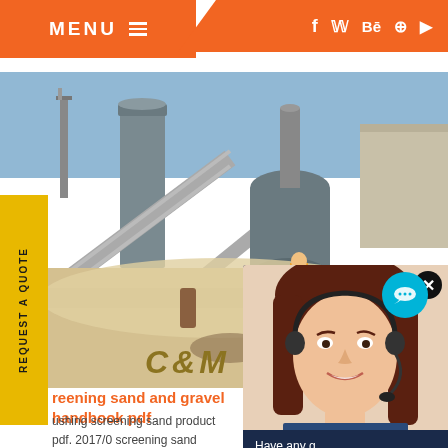MENU ☰
[Figure (photo): Industrial crushing and screening plant with conveyor belts, large equipment silos and machinery on a construction site]
C&M Mac
[Figure (photo): Customer service representative woman with headset smiling, shown in a chat popup overlay with 'Have any questions? click here.' text, Quote button, Enquiry and drobilkalm options]
reening sand and gravel handbook pdf
ushing screening sand product pdf. 2017/0 screening sand product pdf - crushing amp a gravel mm to mm, aggregate production. im screening amp washing. SKD blend, mix, allu s